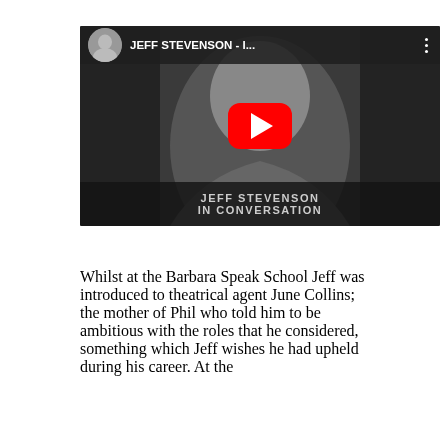[Figure (screenshot): YouTube video thumbnail for 'JEFF STEVENSON - I...' showing a black and white portrait photo with a red YouTube play button in the center. The video top bar shows a circular avatar of Jeff Stevenson and the video title. The bottom bar reads 'JEFF STEVENSON IN CONVERSATION'.]
Whilst at the Barbara Speak School Jeff was introduced to theatrical agent June Collins; the mother of Phil who told him to be ambitious with the roles that he considered, something which Jeff wishes he had upheld during his career. At the